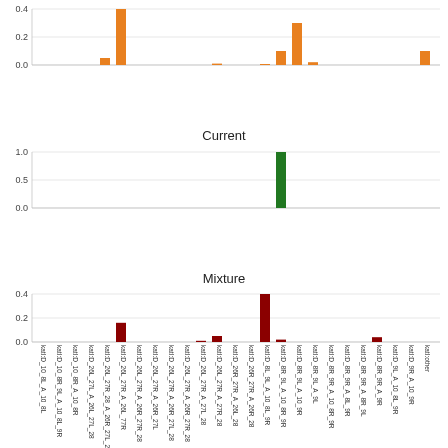[Figure (bar-chart): (top chart - no label)]
Current
[Figure (bar-chart): Current]
Mixture
[Figure (bar-chart): Mixture]